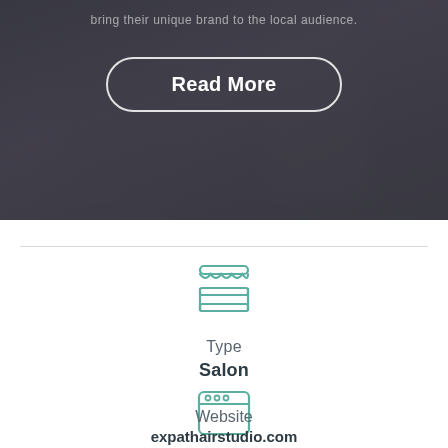[Figure (photo): Dark, moody photo of women in dark clothing, with semi-transparent overlay. Partially visible at top of page.]
...bring their unique brand to the local audience.
Read More
Type
Salon
[Figure (illustration): Teal store/shop icon (awning with shelves)]
Website
[Figure (illustration): Teal browser window icon]
expathairstudio.com